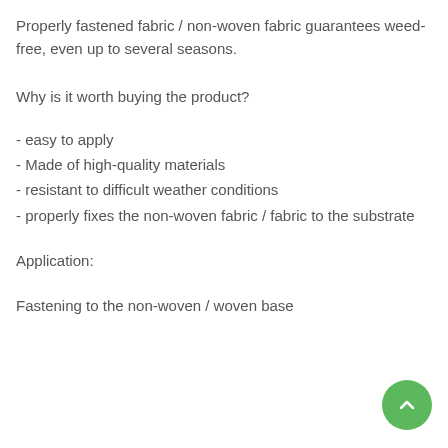Properly fastened fabric / non-woven fabric guarantees weed-free, even up to several seasons.
Why is it worth buying the product?
- easy to apply
- Made of high-quality materials
- resistant to difficult weather conditions
- properly fixes the non-woven fabric / fabric to the substrate
Application:
Fastening to the non-woven / woven base